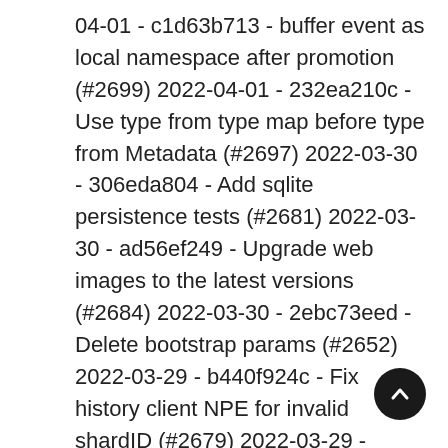04-01 - c1d63b713 - buffer event as local namespace after promotion (#2699) 2022-04-01 - 232ea210c - Use type from type map before type from Metadata (#2697) 2022-03-30 - 306eda804 - Add sqlite persistence tests (#2681) 2022-03-30 - ad56ef249 - Upgrade web images to the latest versions (#2684) 2022-03-30 - 2ebc73eed - Delete bootstrap params (#2652) 2022-03-29 - b440f924c - Fix history client NPE for invalid shardID (#2679) 2022-03-29 - ccba09b1f - Fix timer queue cluster ack level update (#2678) 2022-03-29 -